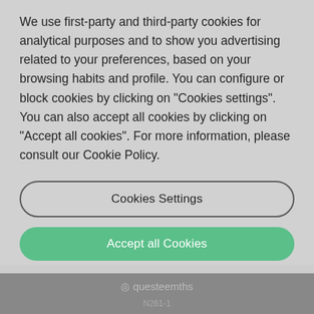We use first-party and third-party cookies for analytical purposes and to show you advertising related to your preferences, based on your browsing habits and profile. You can configure or block cookies by clicking on “Cookies settings”. You can also accept all cookies by clicking on “Accept all cookies”. For more information, please consult our Cookie Policy.
Cookies Settings
Accept all Cookies